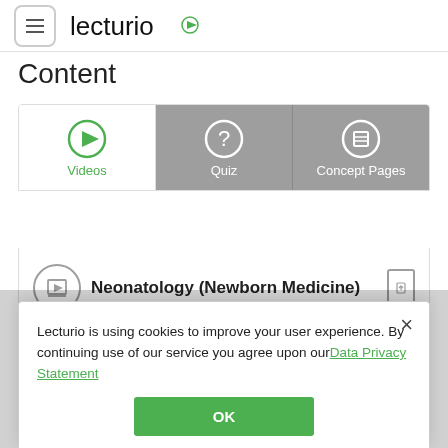[Figure (logo): Lecturio logo with hamburger menu icon]
Content
[Figure (screenshot): Tab navigation with Videos (active, green), Quiz, and Concept Pages tabs]
Neonatology (Newborn Medicine)
Lecturio is using cookies to improve your user experience. By continuing use of our service you agree upon our Data Privacy Statement